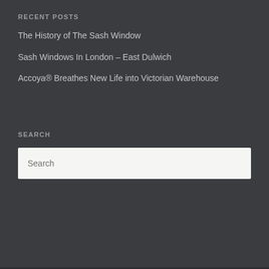RECENT POSTS
The History of The Sash Window
Sash Windows In London – East Dulwich
Accoya® Breathes New Life into Victorian Warehouse
SEARCH
Search